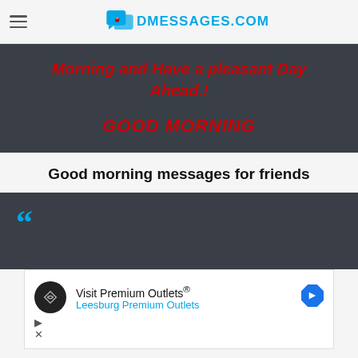DMESSAGES.COM
[Figure (illustration): Dark banner with italic bold red text: 'Morning and Have a pleasant Day Ahead.!' and 'GOOD MORNING']
Good morning messages for friends
[Figure (illustration): Dark card with large blue quotation mark]
[Figure (screenshot): Advertisement: Visit Premium Outlets - Leesburg Premium Outlets, with circular logo icon and navigation arrow]